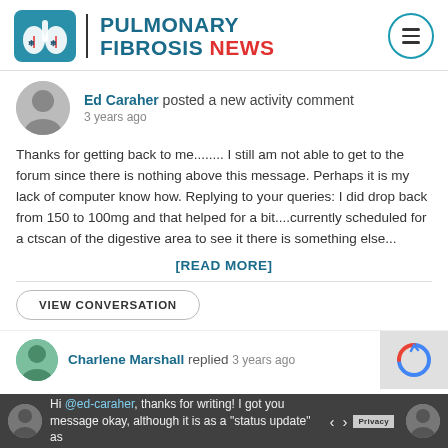PULMONARY FIBROSIS NEWS
Ed Caraher posted a new activity comment
3 years ago
Thanks for getting back to me........ I still am not able to get to the forum since there is nothing above this message. Perhaps it is my lack of computer know how. Replying to your queries: I did drop back from 150 to 100mg and that helped for a bit....currently scheduled for a ctscan of the digestive area to see it there is something else...
[READ MORE]
VIEW CONVERSATION
Charlene Marshall replied 3 years ago
Hi @ed-caraher, thanks for writing! I got your message okay, although it is as a "status update" as